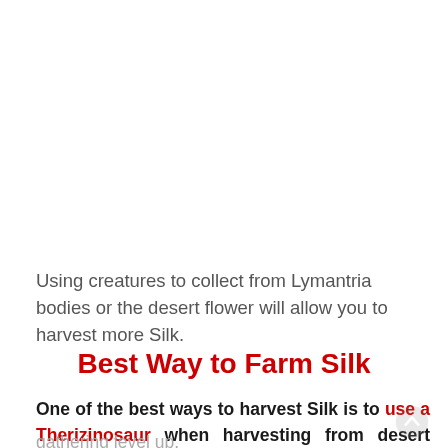Using creatures to collect from Lymantria bodies or the desert flower will allow you to harvest more Silk.
Best Way to Farm Silk
One of the best ways to harvest Silk is to use a Therizinosaur when harvesting from desert flowers as they are efficient with their delicate gathering level up.